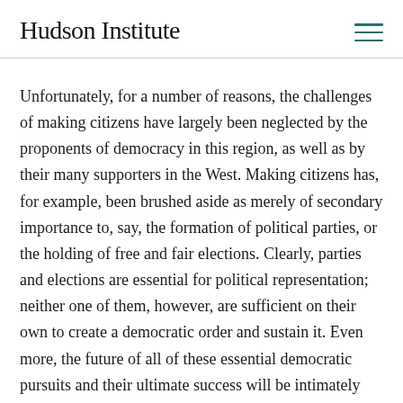Hudson Institute
Unfortunately, for a number of reasons, the challenges of making citizens have largely been neglected by the proponents of democracy in this region, as well as by their many supporters in the West. Making citizens has, for example, been brushed aside as merely of secondary importance to, say, the formation of political parties, or the holding of free and fair elections. Clearly, parties and elections are essential for political representation; neither one of them, however, are sufficient on their own to create a democratic order and sustain it. Even more, the future of all of these essential democratic pursuits and their ultimate success will be intimately